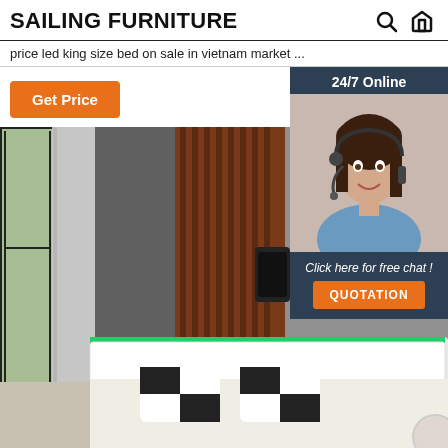SAILING FURNITURE
price led king size bed on sale in vietnam market ...
Get Price
24/7 Online
[Figure (photo): Customer service representative with headset smiling]
Click here for free chat !
QUOTATION
[Figure (photo): Bedroom interior with curtains and Eiffel Tower artwork on wall, and LED king size bed with black and white pillows]